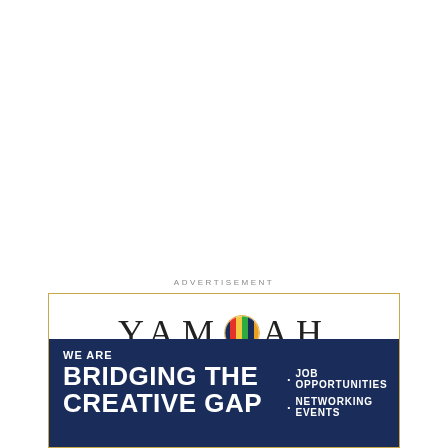ADVERTISEMENT
[Figure (logo): Yamoah Entertainment logo: large spaced letters YAMOAH with a colorful circle replacing the O, and ENTERTAINMENT in small spaced caps below]
WE ARE
BRIDGING THE CREATIVE GAP
· JOB OPPORTUNITIES
· NETWORKING EVENTS